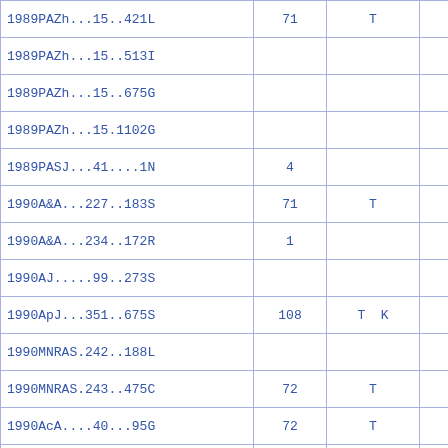| 1989PAZh...15..421L | 71 | T |  |
| 1989PAZh...15..513I |  |  |  |
| 1989PAZh...15..675G |  |  |  |
| 1989PAZh...15.1102G |  |  |  |
| 1989PASJ...41....1N | 4 |  |  |
| 1990A&A...227..183S | 71 | T |  |
| 1990A&A...234..172R | 1 |  |  |
| 1990AJ.....99..273S |  |  |  |
| 1990ApJ...351..675S | 108 | T  K |  |
| 1990MNRAS.242..188L |  |  |  |
| 1990MNRAS.243..475C | 72 | T |  |
| 1990AcA....40...95G | 72 | T |  |
| 1990Ap&SS.169...31P |  |  |  |
| 1990Ap&SS.169..139G | 71 | T |  |
| 1990BAAS...22.1306G | 70 | T |  |